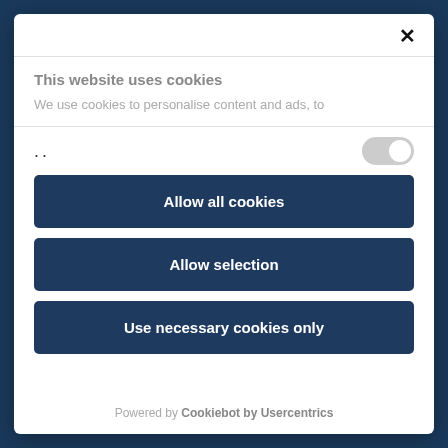This website uses cookies
We use cookies to personalise content and ads, to
..
Allow all cookies
Allow selection
Use necessary cookies only
Powered by Cookiebot by Usercentrics